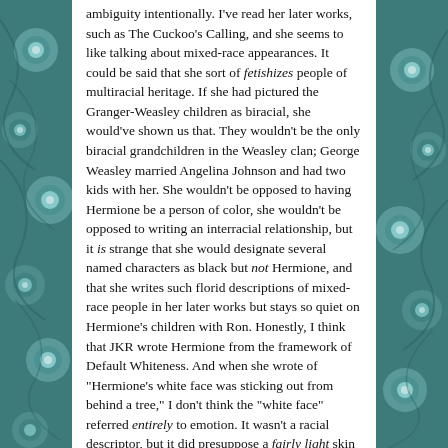[Figure (illustration): Decorative teal/green peacock feather pattern background on left and right sides of the page]
ambiguity intentionally. I've read her later works, such as The Cuckoo's Calling, and she seems to like talking about mixed-race appearances. It could be said that she sort of fetishizes people of multiracial heritage. If she had pictured the Granger-Weasley children as biracial, she would've shown us that. They wouldn't be the only biracial grandchildren in the Weasley clan; George Weasley married Angelina Johnson and had two kids with her. She wouldn't be opposed to having Hermione be a person of color, she wouldn't be opposed to writing an interracial relationship, but it is strange that she would designate several named characters as black but not Hermione, and that she writes such florid descriptions of mixed-race people in her later works but stays so quiet on Hermione's children with Ron. Honestly, I think that JKR wrote Hermione from the framework of Default Whiteness. And when she wrote of "Hermione's white face was sticking out from behind a tree," I don't think the "white face" referred entirely to emotion. It wasn't a racial descriptor, but it did presuppose a fairly light skin tone aside from her momentary shock.